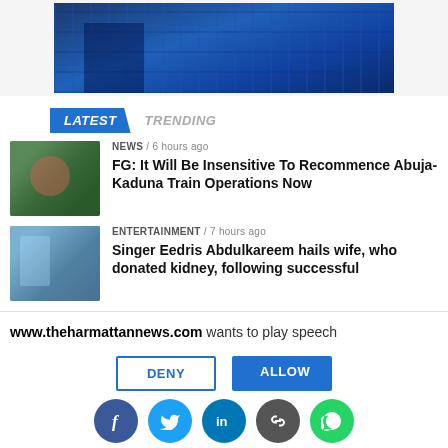[Figure (photo): Blue-tinted photo of a modern building exterior with glass windows]
LATEST   TRENDING
NEWS / 6 hours ago
FG: It Will Be Insensitive To Recommence Abuja-Kaduna Train Operations Now
ENTERTAINMENT / 7 hours ago
Singer Eedris Abdulkareem hails wife, who donated kidney, following successful
www.theharmattannews.com wants to play speech
DENY   ALLOW
[Figure (infographic): Social sharing icons: Facebook, Twitter, LinkedIn, chain link, WhatsApp]